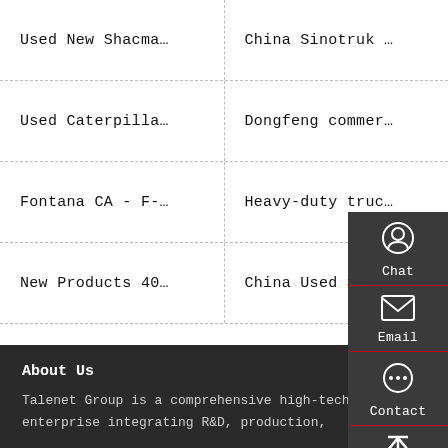Used New Shacma…
China Sinotruk …
Used Caterpilla…
Dongfeng commer…
Fontana CA - F-…
Heavy-duty truc…
New Products 40…
China Used Sino…
About Us
Talenet Group is a comprehensive high-tech enterprise integrating R&D, production,